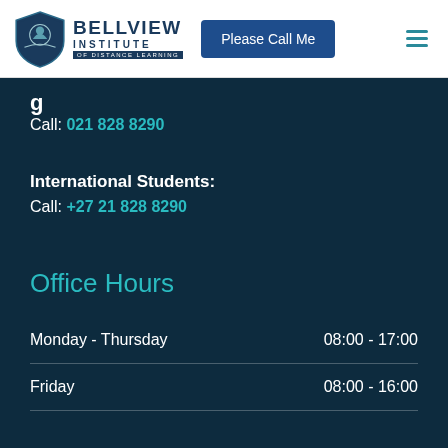[Figure (logo): Bellview Institute of Distance Learning logo with shield emblem and navy text]
Please Call Me
g
Call: 021 828 8290
International Students:
Call: +27 21 828 8290
Office Hours
| Day | Hours |
| --- | --- |
| Monday - Thursday | 08:00 - 17:00 |
| Friday | 08:00 - 16:00 |